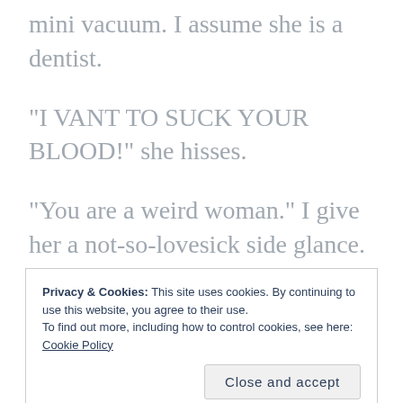mini vacuum. I assume she is a dentist.
“I VANT TO SUCK YOUR BLOOD!” she hisses.
“You are a weird woman.” I give her a not-so-lovesick side glance.
(Actually, those two quotes happened in
Privacy & Cookies: This site uses cookies. By continuing to use this website, you agree to their use.
To find out more, including how to control cookies, see here: Cookie Policy
Close and accept
osmosis. They look like wrinkly prunes.